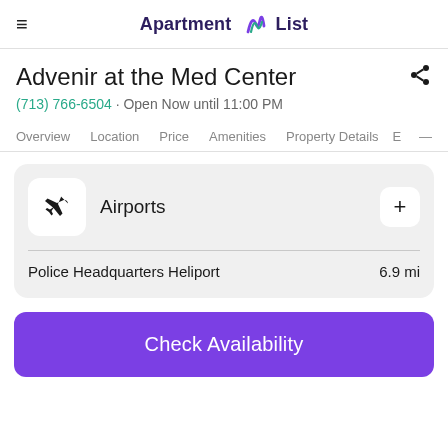Apartment List
Advenir at the Med Center
(713) 766-6504 · Open Now until 11:00 PM
Overview  Location  Price  Amenities  Property Details  E
Airports
Police Headquarters Heliport  6.9 mi
Check Availability